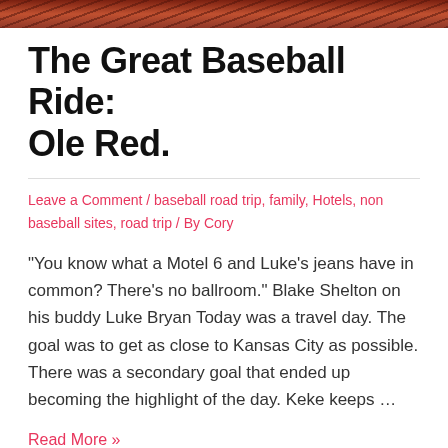[Figure (photo): Top portion of a photo showing what appears to be a baseball stadium interior, reddish-brown tones]
The Great Baseball Ride: Ole Red.
Leave a Comment / baseball road trip, family, Hotels, non baseball sites, road trip / By Cory
“You know what a Motel 6 and Luke’s jeans have in common? There’s no ballroom.” Blake Shelton on his buddy Luke Bryan Today was a travel day.  The goal was to get as close to Kansas City as possible.  There was a secondary goal that ended up becoming the highlight of the day.  Keke keeps …
Read More »
[Figure (photo): Bottom portion showing a baseball stadium interior with structural beams and lights visible, dark reddish-brown tones]